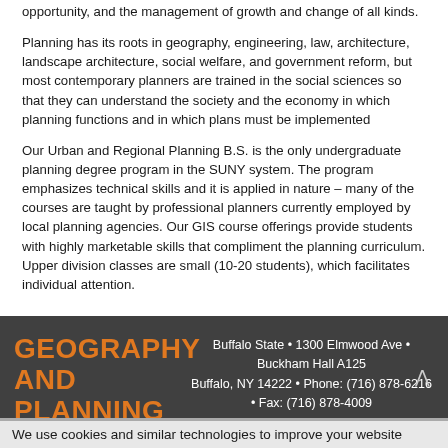Planning has its roots in geography, engineering, law, architecture, landscape architecture, social welfare, and government reform, but most contemporary planners are trained in the social sciences so that they can understand the society and the economy in which planning functions and in which plans must be implemented
Our Urban and Regional Planning B.S. is the only undergraduate planning degree program in the SUNY system. The program emphasizes technical skills and it is applied in nature – many of the courses are taught by professional planners currently employed by local planning agencies. Our GIS course offerings provide students with highly marketable skills that compliment the planning curriculum. Upper division classes are small (10-20 students), which facilitates individual attention.
GEOGRAPHY AND PLANNING
Buffalo State • 1300 Elmwood Ave • Buckham Hall A125
Buffalo, NY 14222 • Phone: (716) 878-6216 • Fax: (716) 878-4009
barryla@buffalostate.edu
Connect With Us
We use cookies and similar technologies to improve your website